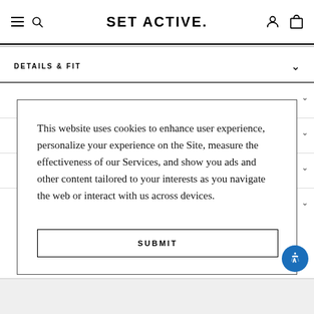SET ACTIVE
DETAILS & FIT
This website uses cookies to enhance user experience, personalize your experience on the Site, measure the effectiveness of our Services, and show you ads and other content tailored to your interests as you navigate the web or interact with us across devices.
SUBMIT